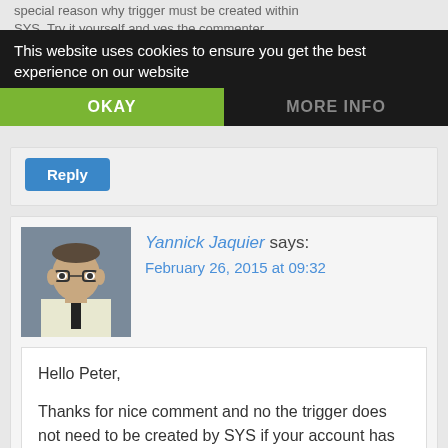special reason why trigger must be created within SYS. Try it yourself and yes the commenter.
This website uses cookies to ensure you get the best experience on our website
OKAY
MORE INFO
Reply
Yannick Jaquier says:
February 26, 2015 at 09:32
Hello Peter,

Thanks for nice comment and no the trigger does not need to be created by SYS if your account has enough rights. It is just a (bad) habit I have to create such powerful trigger with the most powerful account of the database...

Yannick.
[Figure (photo): Avatar photo of Yannick Jaquier, a man wearing glasses and a white shirt with a dark tie]